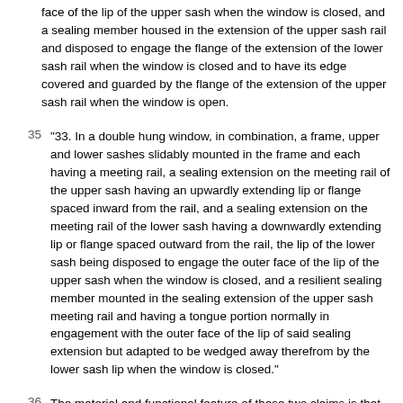face of the lip of the upper sash when the window is closed, and a sealing member housed in the extension of the upper sash rail and disposed to engage the flange of the extension of the lower sash rail when the window is closed and to have its edge covered and guarded by the flange of the extension of the upper sash rail when the window is open.
35 "33. In a double hung window, in combination, a frame, upper and lower sashes slidably mounted in the frame and each having a meeting rail, a sealing extension on the meeting rail of the upper sash having an upwardly extending lip or flange spaced inward from the rail, and a sealing extension on the meeting rail of the lower sash having a downwardly extending lip or flange spaced outward from the rail, the lip of the lower sash being disposed to engage the outer face of the lip of the upper sash when the window is closed, and a resilient sealing member mounted in the sealing extension of the upper sash meeting rail and having a tongue portion normally in engagement with the outer face of the lip of said sealing extension but adapted to be wedged away therefrom by the lower sash lip when the window is closed."
36 The material and functional feature of these two claims is that "the lip of the lower sash being disposed to engage the outer face of the